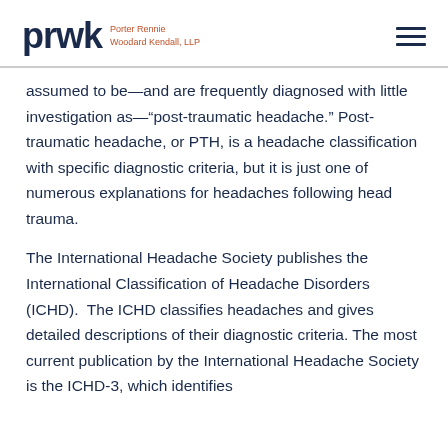prwk Porter Rennie Woodard Kendall, LLP
assumed to be—and are frequently diagnosed with little investigation as—“post-traumatic headache.” Post-traumatic headache, or PTH, is a headache classification with specific diagnostic criteria, but it is just one of numerous explanations for headaches following head trauma.
The International Headache Society publishes the International Classification of Headache Disorders (ICHD).  The ICHD classifies headaches and gives detailed descriptions of their diagnostic criteria. The most current publication by the International Headache Society is the ICHD-3, which identifies